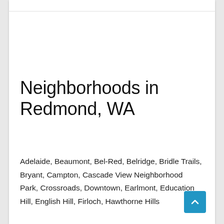Neighborhoods in Redmond, WA
Adelaide, Beaumont, Bel-Red, Belridge, Bridle Trails, Bryant, Campton, Cascade View Neighborhood Park, Crossroads, Downtown, Earlmont, Education Hill, English Hill, Firloch, Hawthorne Hills